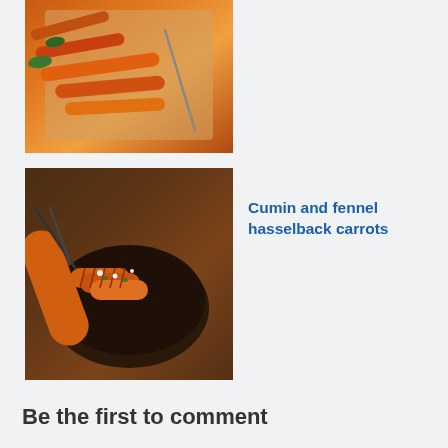[Figure (photo): Partial view of roasted carrots in parchment paper, cropped at top]
[Figure (photo): Hasselback carrots with cumin and fennel in a dark bowl on a wooden surface]
Cumin and fennel hasselback carrots
[Figure (photo): Leek, squash and parsley crumble in a red cast iron dish]
Leek, squash and parsley crumble
Be the first to comment